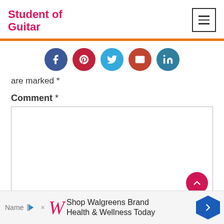Student of Guitar
[Figure (infographic): Five social sharing icon circles: Facebook (blue), Pinterest (dark red), Twitter (light blue), Email (red-orange), LinkedIn (teal)]
are marked *
Comment *
[Figure (screenshot): Empty comment textarea input field with a scroll-up button (pink circle with up arrow) at bottom right]
[Figure (infographic): Advertisement banner: Shop Walgreens Brand Health & Wellness Today with Walgreens W logo and navigation arrow]